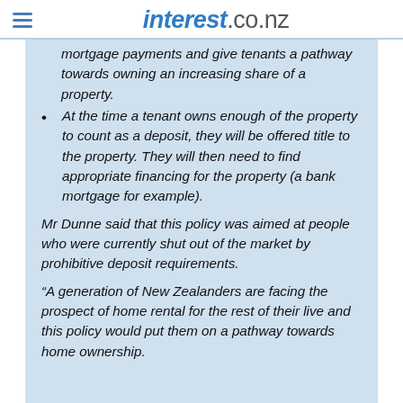interest.co.nz
mortgage payments and give tenants a pathway towards owning an increasing share of a property.
At the time a tenant owns enough of the property to count as a deposit, they will be offered title to the property. They will then need to find appropriate financing for the property (a bank mortgage for example).
Mr Dunne said that this policy was aimed at people who were currently shut out of the market by prohibitive deposit requirements.
“A generation of New Zealanders are facing the prospect of home rental for the rest of their live and this policy would put them on a pathway towards home ownership.